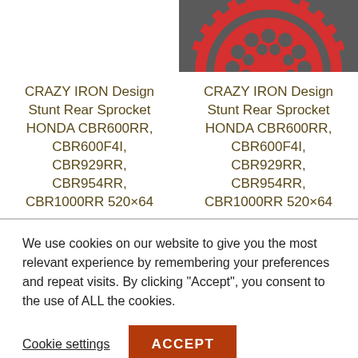[Figure (photo): Partial view of a red sprocket gear on dark background, visible in top right area of page]
CRAZY IRON Design Stunt Rear Sprocket HONDA CBR600RR, CBR600F4I, CBR929RR, CBR954RR, CBR1000RR 520×64
CRAZY IRON Design Stunt Rear Sprocket HONDA CBR600RR, CBR600F4I, CBR929RR, CBR954RR, CBR1000RR 520×64
We use cookies on our website to give you the most relevant experience by remembering your preferences and repeat visits. By clicking "Accept", you consent to the use of ALL the cookies.
Cookie settings
ACCEPT